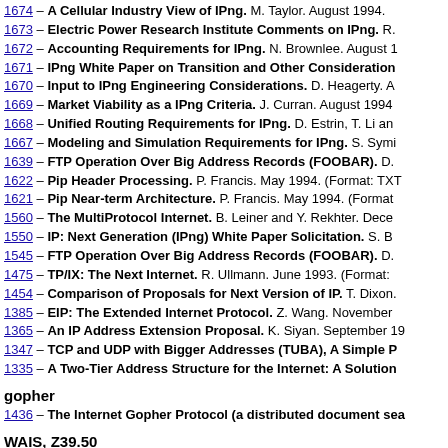1674 – A Cellular Industry View of IPng. M. Taylor. August 1994.
1673 – Electric Power Research Institute Comments on IPng. R.
1672 – Accounting Requirements for IPng. N. Brownlee. August 1
1671 – IPng White Paper on Transition and Other Consideration
1670 – Input to IPng Engineering Considerations. D. Heagerty. A
1669 – Market Viability as a IPng Criteria. J. Curran. August 1994
1668 – Unified Routing Requirements for IPng. D. Estrin, T. Li an
1667 – Modeling and Simulation Requirements for IPng. S. Symi
1639 – FTP Operation Over Big Address Records (FOOBAR). D.
1622 – Pip Header Processing. P. Francis. May 1994. (Format: TXT
1621 – Pip Near-term Architecture. P. Francis. May 1994. (Format
1560 – The MultiProtocol Internet. B. Leiner and Y. Rekhter. Dece
1550 – IP: Next Generation (IPng) White Paper Solicitation. S. B
1545 – FTP Operation Over Big Address Records (FOOBAR). D.
1475 – TP/IX: The Next Internet. R. Ullmann. June 1993. (Format:
1454 – Comparison of Proposals for Next Version of IP. T. Dixon.
1385 – EIP: The Extended Internet Protocol. Z. Wang. November
1365 – An IP Address Extension Proposal. K. Siyan. September 19
1347 – TCP and UDP with Bigger Addresses (TUBA), A Simple P
1335 – A Two-Tier Address Structure for the Internet: A Solution
gopher
1436 – The Internet Gopher Protocol (a distributed document sea
WAIS, Z39.50